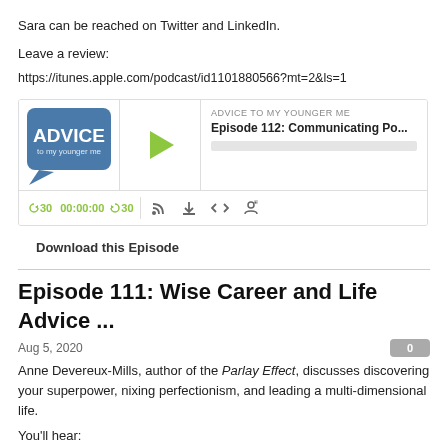Sara can be reached on Twitter and LinkedIn.
Leave a review:
https://itunes.apple.com/podcast/id1101880566?mt=2&ls=1
[Figure (screenshot): Podcast player widget for 'Advice to My Younger Me' showing Episode 112: Communicating Po... with play button, progress bar, time controls (30 rewind, 00:00:00, forward 30), and media icons]
Download this Episode
Episode 111: Wise Career and Life Advice ...
Aug 5, 2020
Anne Devereux-Mills, author of the Parlay Effect, discusses discovering your superpower, nixing perfectionism, and leading a multi-dimensional life.
You'll hear: